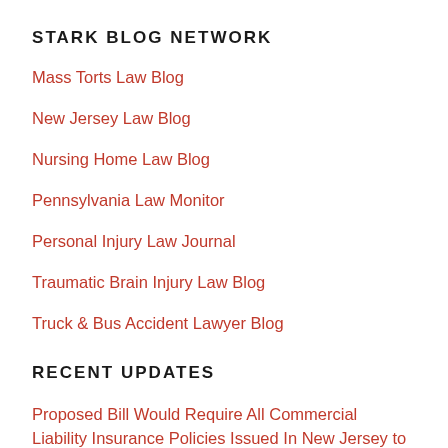STARK BLOG NETWORK
Mass Torts Law Blog
New Jersey Law Blog
Nursing Home Law Blog
Pennsylvania Law Monitor
Personal Injury Law Journal
Traumatic Brain Injury Law Blog
Truck & Bus Accident Lawyer Blog
RECENT UPDATES
Proposed Bill Would Require All Commercial Liability Insurance Policies Issued In New Jersey to Specify Coverage For “Faulty